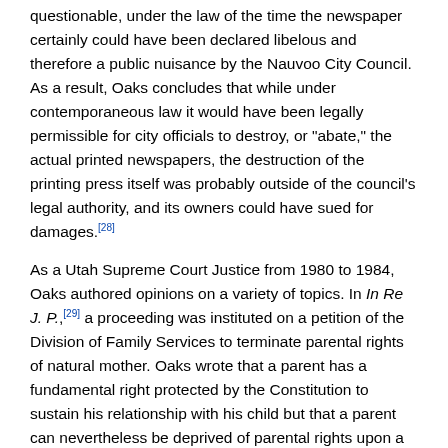questionable, under the law of the time the newspaper certainly could have been declared libelous and therefore a public nuisance by the Nauvoo City Council. As a result, Oaks concludes that while under contemporaneous law it would have been legally permissible for city officials to destroy, or "abate," the actual printed newspapers, the destruction of the printing press itself was probably outside of the council's legal authority, and its owners could have sued for damages.[28]
As a Utah Supreme Court Justice from 1980 to 1984, Oaks authored opinions on a variety of topics. In In Re J. P.,[29] a proceeding was instituted on a petition of the Division of Family Services to terminate parental rights of natural mother. Oaks wrote that a parent has a fundamental right protected by the Constitution to sustain his relationship with his child but that a parent can nevertheless be deprived of parental rights upon a showing of unfitness, abandonment, and substantial neglect.
In KUTV, Inc. v. Conder,[30] media representatives sought review by appeal and by a writ of prohibition of an order barring the media from using the words "Sugarhouse rapist" or disseminating any information on past convictions of defendant during the pendency